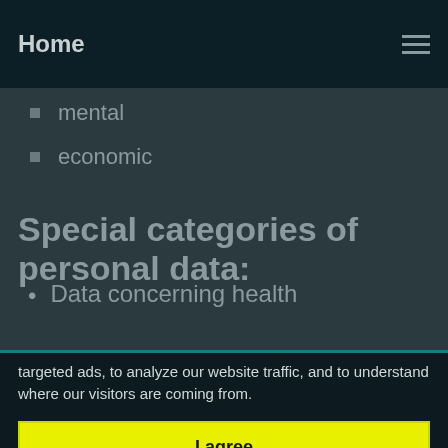Home
mental
economic
Special categories of personal data:
Data concerning health
targeted ads, to analyze our website traffic, and to understand where our visitors are coming from.
I agree
I decline
Change my preferences